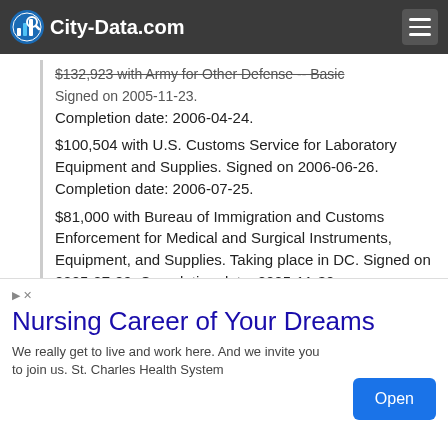City-Data.com
$100,504 with U.S. Customs Service for Laboratory Equipment and Supplies. Signed on 2006-06-26. Completion date: 2006-07-25.
$81,000 with Bureau of Immigration and Customs Enforcement for Medical and Surgical Instruments, Equipment, and Supplies. Taking place in DC. Signed on 2005-07-29. Completion date: 2005-11-30.
AZNA LLC (299 BALLARDVALE ST; small business): $912,280 in 3 contracts from 2003 to 2005
$748,878 with Air Force for Weapons --
Nursing Career of Your Dreams
We really get to live and work here. And we invite you to join us. St. Charles Health System